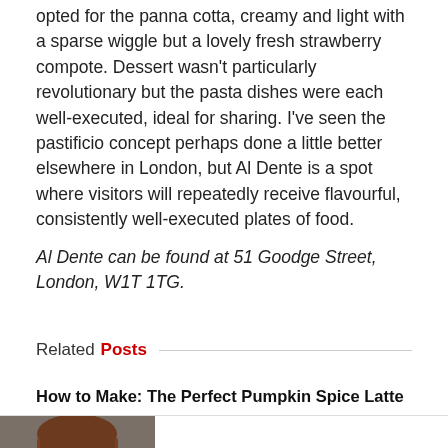opted for the panna cotta, creamy and light with a sparse wiggle but a lovely fresh strawberry compote. Dessert wasn't particularly revolutionary but the pasta dishes were each well-executed, ideal for sharing. I've seen the pastificio concept perhaps done a little better elsewhere in London, but Al Dente is a spot where visitors will repeatedly receive flavourful, consistently well-executed plates of food.
Al Dente can be found at 51 Goodge Street, London, W1T 1TG.
Related Posts
How to Make: The Perfect Pumpkin Spice Latte
Reaction as Angela Rayner sacked as party chairman